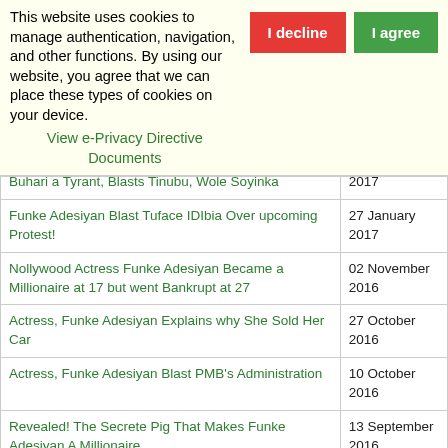This website uses cookies to manage authentication, navigation, and other functions. By using our website, you agree that we can place these types of cookies on your device. View e-Privacy Directive Documents
| Title | Date |
| --- | --- |
| Buhari a Tyrant, Blasts Tinubu, Wole Soyinka | 2017 |
| Funke Adesiyan Blast Tuface IDIbia Over upcoming Protest! | 27 January 2017 |
| Nollywood Actress Funke Adesiyan Became a Millionaire at 17 but went Bankrupt at 27 | 02 November 2016 |
| Actress, Funke Adesiyan Explains why She Sold Her Car | 27 October 2016 |
| Actress, Funke Adesiyan Blast PMB's Administration | 10 October 2016 |
| Revealed! The Secrete Pig That Makes Funke Adesiyan A Millionaire | 13 September 2016 |
| Chai, Lavish Lifestyle: Actress, Funke Adesiyan | 07 September |